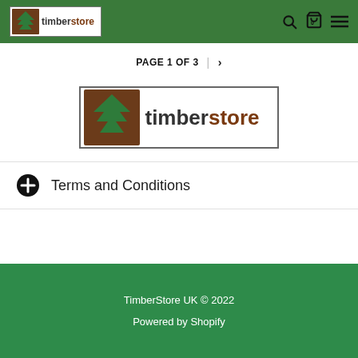timberstore [logo] — navigation header with search, cart, menu icons
PAGE 1 OF 3 | >
[Figure (logo): TimberStore logo: green pine tree with brown background square, text 'timberstore' with 'timber' in dark grey and 'store' in brown]
⊕ Terms and Conditions
TimberStore UK © 2022
Powered by Shopify